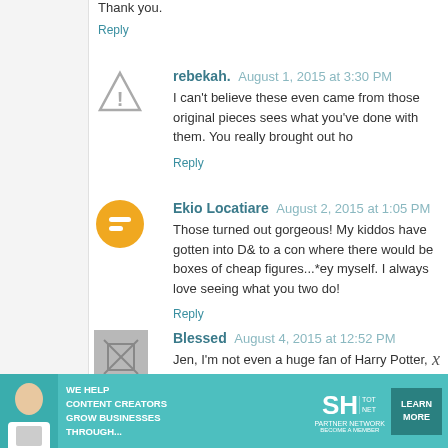Thank you.
Reply
rebekah.  August 1, 2015 at 3:30 PM
I can't believe these even came from those original pieces sees what you've done with them. You really brought out ho
Reply
Ekio Locatiare  August 2, 2015 at 1:05 PM
Those turned out gorgeous! My kiddos have gotten into D& to a con where there would be boxes of cheap figures...*ey myself. I always love seeing what you two do!
Reply
Blessed  August 4, 2015 at 12:52 PM
Jen, I'm not even a huge fan of Harry Potter, but I LOVE a looked so junky and turned it into something GORGEOUS liked the details you chose that other people might n make them stand straighter? I would never have d
[Figure (infographic): SHE Partner Network advertisement banner: 'We help content creators grow businesses through...' with Learn More button]